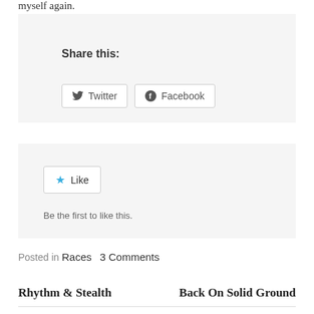myself again.
Share this:
Twitter  Facebook
[Figure (other): Like button widget with star icon and Like label]
Be the first to like this.
Posted in Races   3 Comments
Rhythm & Stealth
Back On Solid Ground